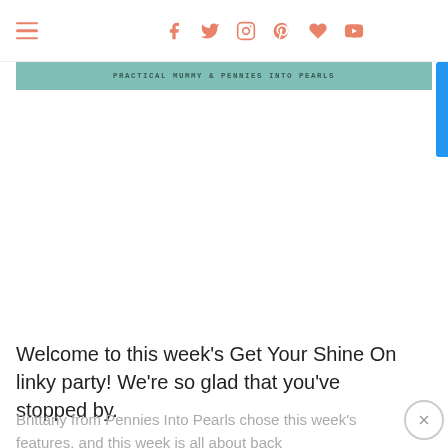≡  f  𝕋  ◯  𝗽  ♥  ▶
[Figure (screenshot): Teal/green banner bar reading PRACTICAL MUMMY & PENNIES INTO PEARLS]
Welcome to this week's Get Your Shine On linky party! We're so glad that you've stopped by.
Brittany from Pennies Into Pearls chose this week's features, and this week is all about back